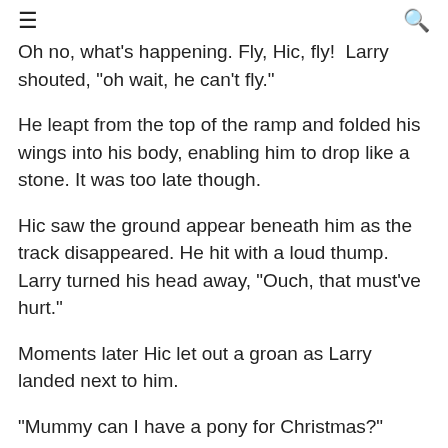≡  🔍
Oh no, what's happening. Fly, Hic, fly!  Larry shouted, "oh wait, he can't fly."
He leapt from the top of the ramp and folded his wings into his body, enabling him to drop like a stone. It was too late though.
Hic saw the ground appear beneath him as the track disappeared. He hit with a loud thump. Larry turned his head away, "Ouch, that must've hurt."
Moments later Hic let out a groan as Larry landed next to him.
"Mummy can I have a pony for Christmas?" said Hic, and he began to sing a Christmas…